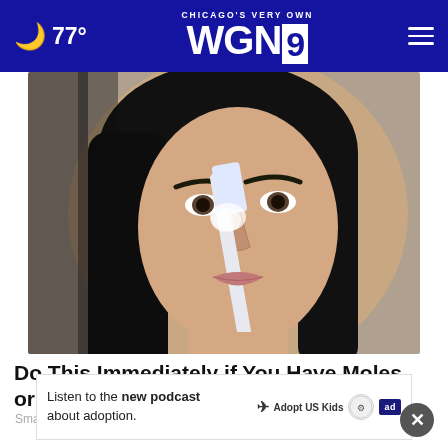CHICAGO'S VERY OWN WGN9 — 77°
[Figure (photo): Close-up photo of a dark-haired woman applying something to her nose with a toothbrush]
Do This Immediately if You Have Moles or Skin Tags, It's Genius
Smart Life Reports
[Figure (other): Advertisement banner: Listen to the new podcast about adoption. Adopt US Kids logo, ad badge.]